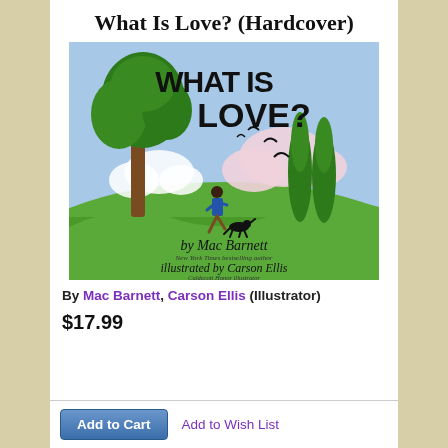What Is Love? (Hardcover)
[Figure (illustration): Book cover of 'What Is Love?' illustrated by Carson Ellis, by Mac Barnett. Cover shows a green rolling landscape with a large tree on the left, two tall cypress trees on the right, a child running with a dog, birds flying, and clouds against a blue sky. Title text 'WHAT IS LOVE?' in large bold black lettering. Author name 'by Mac Barnett' and 'illustrated by Carson Ellis' in cursive script at the bottom.]
By Mac Barnett, Carson Ellis (Illustrator)
$17.99
Add to Cart   Add to Wish List